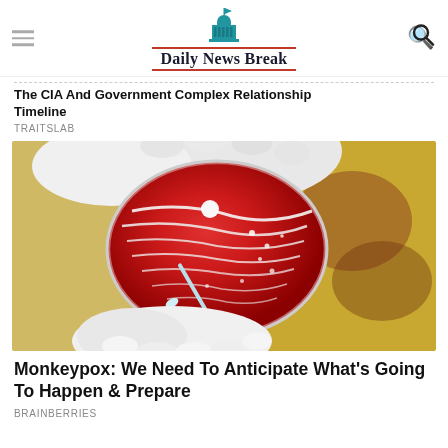Daily News Break
The CIA And Government Complex Relationship Timeline
TRAITSLAB
[Figure (photo): Gloved hands holding a red blood agar petri dish with white bacterial colonies, with a swab being inserted. Laboratory setting with yellow background visible.]
Monkeypox: We Need To Anticipate What's Going To Happen & Prepare
BRAINBERRIES